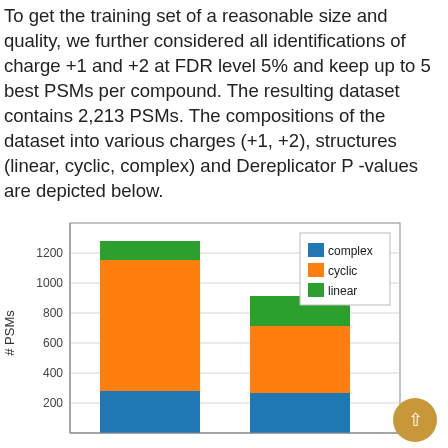To get the training set of a reasonable size and quality, we further considered all identifications of charge +1 and +2 at FDR level 5% and keep up to 5 best PSMs per compound. The resulting dataset contains 2,213 PSMs. The compositions of the dataset into various charges (+1, +2), structures (linear, cyclic, complex) and Dereplicator P -values are depicted below.
[Figure (stacked-bar-chart): ]